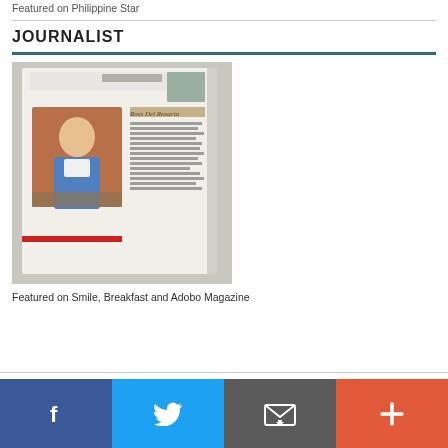Featured on Philippine Star
JOURNALIST
[Figure (photo): A photograph of an open magazine page showing a person dining, with a bio text about Ross Del Rosario, founder of Wazzup Pilipinas, featured in the Breakfast Club section.]
Featured on Smile, Breakfast and Adobo Magazine
[Figure (infographic): Social media share bar with Facebook, Twitter, email/envelope, and plus buttons]